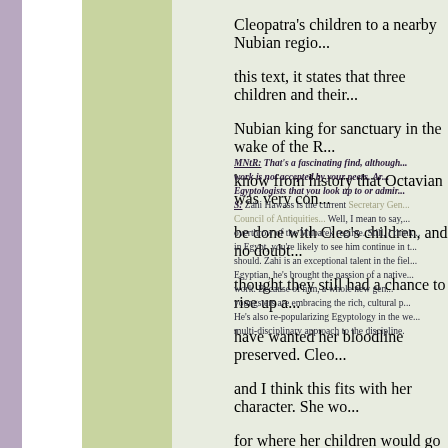Cleopatra's children to a nearby Nubian region... this text, it states that three children and their... Nubian king for sanctuary in the wake of the R... know from history that Octavian was very con... be done with Cleo's children, and no doubt... thought they still had a chance to rise up a... have wanted her bloodline preserved. Cleo... and I think this fits with her character. She wo... for where her children would go if she should... they were in danger. Someone tried to get the...
MNtR: That's a fascinating find, although... work is not accepted by your peers. Ar... Egyptologists that you look up to or admire...
S: Zahi Hawass is the current Secretary General of the Council of Antiquities... Well, I mean to say... overthrow of the Mubarek regime. Still, I think... in Egypt, you're likely to see him continue in t... should. Zahi is an exceptional talent in the fie... Egyptian, he's brought the passion of a native... work. Because of him, a whole new gen... youngsters are embracing the rich, cultural p... He's also re-popularizing Egyptology in the we... multi-disciplinary approach to the discipline.